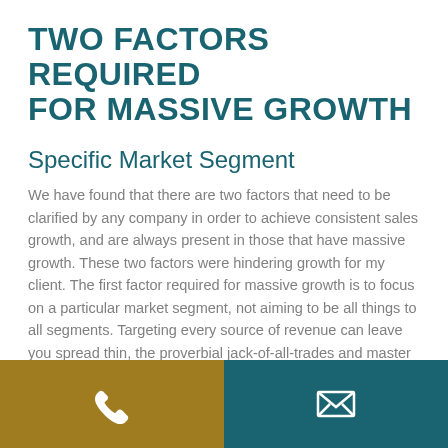TWO FACTORS REQUIRED FOR MASSIVE GROWTH
Specific Market Segment
We have found that there are two factors that need to be clarified by any company in order to achieve consistent sales growth, and are always present in those that have massive growth. These two factors were hindering growth for my client. The first factor required for massive growth is to focus on a particular market segment, not aiming to be all things to all segments. Targeting every source of revenue can leave you spread thin, the proverbial jack-of-all-trades and master of none.
[Figure (infographic): Footer bar with two sections: left gold/yellow section with a white phone icon, right teal section with a white envelope/email icon.]